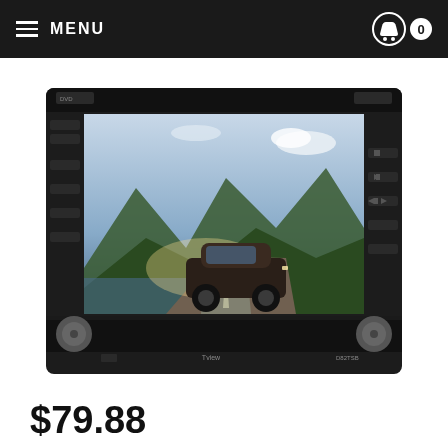MENU
[Figure (photo): Car double-DIN head unit / in-dash DVD receiver with touchscreen display showing a Porsche convertible on a road with mountains in the background. The unit is black with control buttons on both sides of the screen and knobs at the lower corners. Brand text reads 'Tview' and model 'D82TSB'.]
$79.88